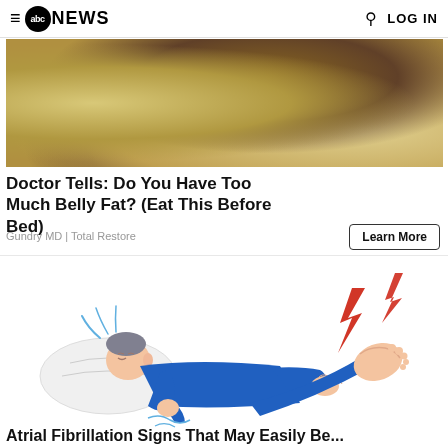abc NEWS  LOG IN
[Figure (photo): Close-up photo of food items with spices/seasoning, golden-brown color with dark speckled topping]
Doctor Tells: Do You Have Too Much Belly Fat? (Eat This Before Bed)
Gundry MD | Total Restore
Learn More
[Figure (illustration): Illustration of a person lying down in blue pajamas experiencing foot/ankle pain, with red lightning bolt pain indicators near the foot]
Atrial Fibrillation Signs That May Easily Be...